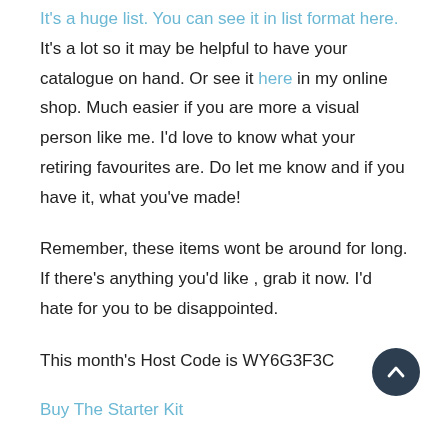It's a huge list. You can see it in list format here. It's a lot so it may be helpful to have your catalogue on hand. Or see it here in my online shop. Much easier if you are more a visual person like me. I'd love to know what your retiring favourites are. Do let me know and if you have it, what you've made!
Remember, these items wont be around for long. If there's anything you'd like , grab it now. I'd hate for you to be disappointed.
This month's Host Code is WY6G3F3C
Buy The Starter Kit